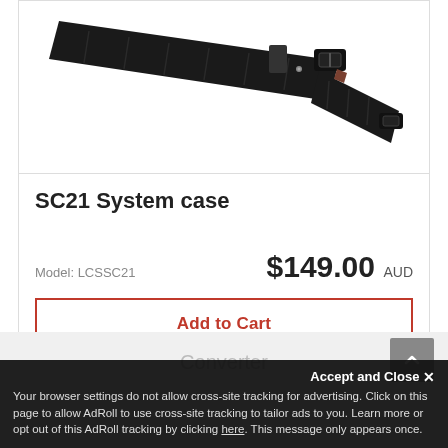[Figure (photo): Product photo showing a black camera bag strap / shoulder strap with adjustable buckle, viewed from above on white background]
SC21 System case
Model: LCSSC21
$149.00 AUD
Add to Cart
Converter
Accept and Close ✕
Your browser settings do not allow cross-site tracking for advertising. Click on this page to allow AdRoll to use cross-site tracking to tailor ads to you. Learn more or opt out of this AdRoll tracking by clicking here. This message only appears once.